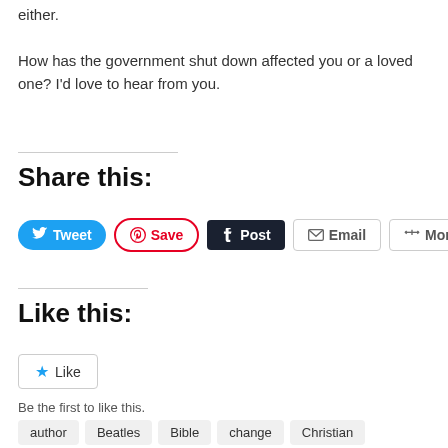either.
How has the government shut down affected you or a loved one? I'd love to hear from you.
Share this:
[Figure (other): Social sharing buttons: Tweet (Twitter/blue), Save (Pinterest/red outline), Post (Tumblr/dark), Email (grey), More (grey)]
Like this:
[Figure (other): WordPress Like button widget with star icon and text 'Like']
Be the first to like this.
author  Beatles  Bible  change  Christian